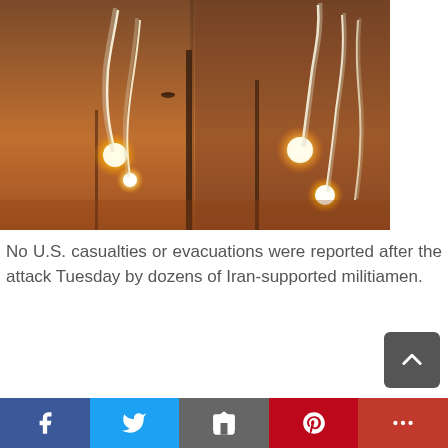[Figure (photo): Night sky photo showing bright flares or projectiles with glowing white trails streaking across an orange-tinted sky with silhouettes of poles or structures]
No U.S. casualties or evacuations were reported after the attack Tuesday by dozens of Iran-supported militiamen.